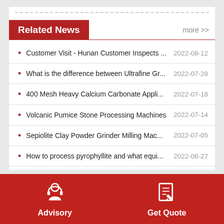Related News
Customer Visit - Hunan Customer Inspects ... 2022-08-12
What is the difference between Ultrafine Gr... 2022-07-28
400 Mesh Heavy Calcium Carbonate Appli... 2022-07-18
Volcanic Pumice Stone Processing Machines 2022-07-14
Sepiolite Clay Powder Grinder Milling Mac... 2022-07-05
How to process pyrophyllite and what equi... 2022-06-27
Advisory | Get Quote